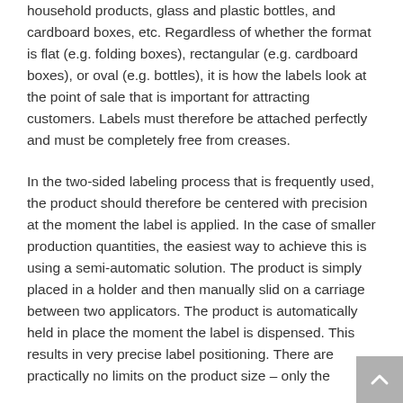household products, glass and plastic bottles, and cardboard boxes, etc. Regardless of whether the format is flat (e.g. folding boxes), rectangular (e.g. cardboard boxes), or oval (e.g. bottles), it is how the labels look at the point of sale that is important for attracting customers. Labels must therefore be attached perfectly and must be completely free from creases.
In the two-sided labeling process that is frequently used, the product should therefore be centered with precision at the moment the label is applied. In the case of smaller production quantities, the easiest way to achieve this is using a semi-automatic solution. The product is simply placed in a holder and then manually slid on a carriage between two applicators. The product is automatically held in place the moment the label is dispensed. This results in very precise label positioning. There are practically no limits on the product size – only the